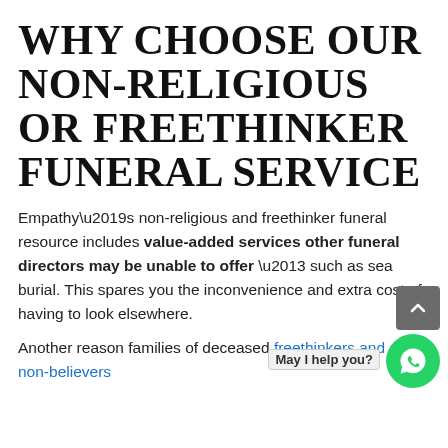WHY CHOOSE OUR NON-RELIGIOUS OR FREETHINKER FUNERAL SERVICE
Empathy’s non-religious and freethinker funeral resource includes value-added services other funeral directors may be unable to offer – such as sea burial. This spares you the inconvenience and extra cost of having to look elsewhere.
Another reason families of deceased freethinkers and other non-believers